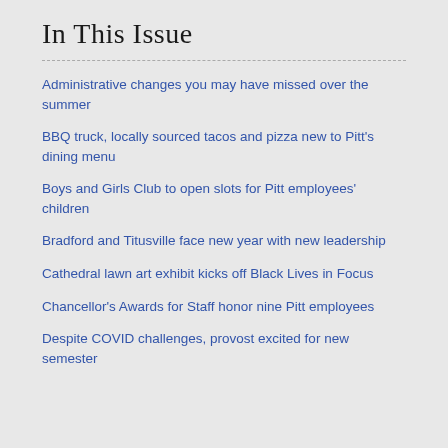In This Issue
Administrative changes you may have missed over the summer
BBQ truck, locally sourced tacos and pizza new to Pitt's dining menu
Boys and Girls Club to open slots for Pitt employees' children
Bradford and Titusville face new year with new leadership
Cathedral lawn art exhibit kicks off Black Lives in Focus
Chancellor's Awards for Staff honor nine Pitt employees
Despite COVID challenges, provost excited for new semester